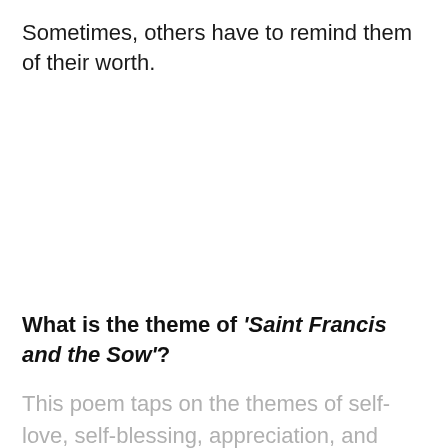Sometimes, others have to remind them of their worth.
What is the theme of 'Saint Francis and the Sow'?
This poem taps on the themes of self-love, self-blessing, appreciation, and sympathy.